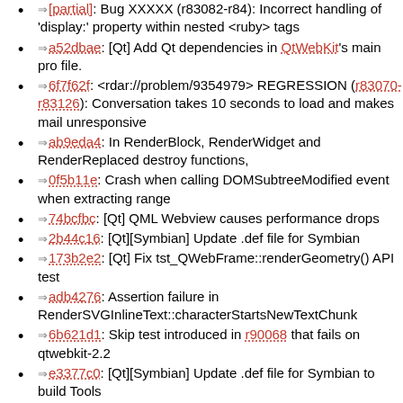[partial, top] handling of 'display:' property within nested <ruby> tags
a52dbae: [Qt] Add Qt dependencies in QtWebKit's main pro file.
6f7f62f: <rdar://problem/9354979> REGRESSION (r83070-r83126): Conversation takes 10 seconds to load and makes mail unresponsive
ab9eda4: In RenderBlock, RenderWidget and RenderReplaced destroy functions,
0f5b11e: Crash when calling DOMSubtreeModified event when extracting range
74bcfbc: [Qt] QML Webview causes performance drops
2b44c16: [Qt][Symbian] Update .def file for Symbian
173b2e2: [Qt] Fix tst_QWebFrame::renderGeometry() API test
adb4276: Assertion failure in RenderSVGInlineText::characterStartsNewTextChunk
6b621d1: Skip test introduced in r90068 that fails on qtwebkit-2.2
e3377c0: [Qt][Symbian] Update .def file for Symbian to build Tools
dfe73c3: [Qt] Fix tst_QWebFrame::setHtmlWithResource() API test
b2eb909: Fix unaligned userspace access for SH4 platforms.
bf3faac: [Qt] Windowless Plugins : <input> cursor blinks even after transferring focus to plugin
3b8d474: Frame flattening is broken with nested frames
c360076: Broken build on QNX
4817c3f: Add platform-specific results after r90338
5866e6f: plugins/invalidate_rect.html fails on linux ports